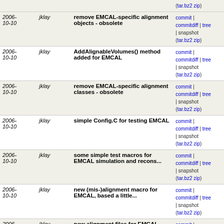| Date | Author | Message | Links |
| --- | --- | --- | --- |
| 2006-10-10 | jklay | remove EMCAL-specific alignment objects - obsolete | commit | commitdiff | tree | snapshot (tar.bz2 zip) |
| 2006-10-10 | jklay | AddAlignableVolumes() method added for EMCAL | commit | commitdiff | tree | snapshot (tar.bz2 zip) |
| 2006-10-10 | jklay | remove EMCAL-specific alignment classes - obsolete | commit | commitdiff | tree | snapshot (tar.bz2 zip) |
| 2006-10-10 | jklay | simple Config.C for testing EMCAL | commit | commitdiff | tree | snapshot (tar.bz2 zip) |
| 2006-10-10 | jklay | some simple test macros for EMCAL simulation and recons... | commit | commitdiff | tree | snapshot (tar.bz2 zip) |
| 2006-10-10 | jklay | new (mis-)alignment macro for EMCAL, based a little... | commit | commitdiff | tree | snapshot (tar.bz2 zip) |
| 2006-10-10 | jklay | new alignment files for EMCAL | commit | commitdiff | tree | snapshot (tar.bz2 zip) |
| 2006-10-10 | jklay | remove old alignment data object, to be replaced with... | commit | commitdiff | tree | snapshot (tar.bz2 zip) |
| 2006-10-10 | nilsen | Now have consistant definition of slope and intersept... | commit | commitdiff | tree | snapshot (tar.bz2 zip) |
| 2006-10-10 | hristov | Effective C++ changes | commit | commitdiff | tree | snapshot (tar.bz2 zip) |